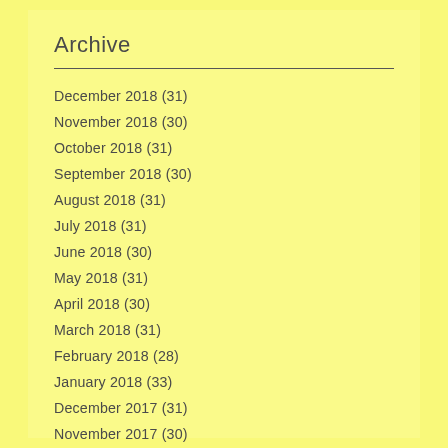Archive
December 2018 (31)
November 2018 (30)
October 2018 (31)
September 2018 (30)
August 2018 (31)
July 2018 (31)
June 2018 (30)
May 2018 (31)
April 2018 (30)
March 2018 (31)
February 2018 (28)
January 2018 (33)
December 2017 (31)
November 2017 (30)
October 2017 (31)
September 2017 (30)